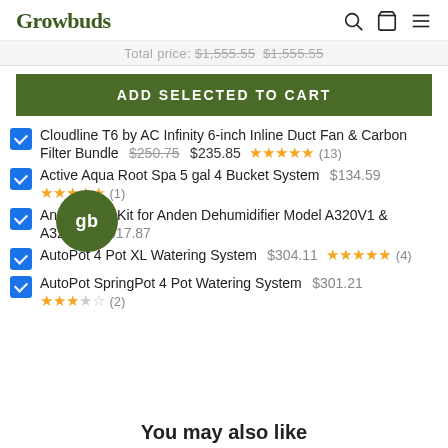Growbuds
Total price: $1,555.55 $1,555.55
Add selected to cart
Cloudline T6 by AC Infinity 6-inch Inline Duct Fan & Carbon Filter Bundle $250.75 $235.85 ★★★★★ (13)
Active Aqua Root Spa 5 gal 4 Bucket System $134.59 ★★★★★ (1)
Anden Duct Kit for Anden Dehumidifier Model A320V1 & A320V3 $617.87
AutoPot 4 Pot XL Watering System $304.11 ★★★★★ (4)
AutoPot SpringPot 4 Pot Watering System $301.21 ★★★☆☆ (2)
You may also like